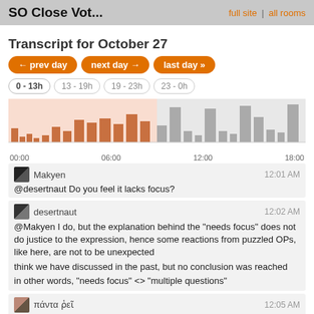SO Close Vot... | full site | all rooms
Transcript for October 27
[Figure (bar-chart): Bar chart showing chat message frequency across the day from 00:00 to beyond 18:00. Bars appear in salmon/orange color between 00:00 and 12:00 (highlighted region), then grey from 12:00 onwards. Activity peaks around 06:00-12:00 and again around 12:00-18:00.]
Makyen
12:01 AM
@desertnaut Do you feel it lacks focus?
desertnaut
12:02 AM
@Makyen I do, but the explanation behind the "needs focus" does not do justice to the expression, hence some reactions from puzzled OPs, like here, are not to be unexpected
think we have discussed in the past, but no conclusion was reached
in other words, "needs focus" <> "multiple questions"
πάντα ῥεῖ
12:05 AM
@desertnaut It's the new too broad
desertnaut
12:05 AM